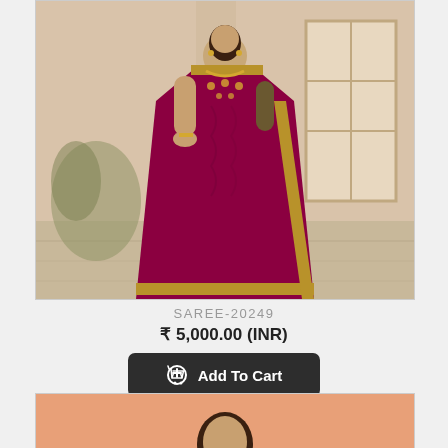[Figure (photo): A woman modeling a dark magenta/maroon saree with gold embroidered border and matching blouse, posed in a studio setting with a beige background.]
SAREE-20249
₹ 5,000.00 (INR)
Add To Cart
[Figure (photo): Partial view of a second product photo showing a model, cropped at bottom of page.]